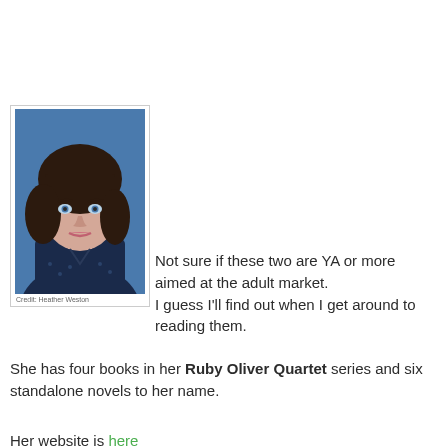[Figure (photo): Headshot of a woman with dark hair and bangs, blue eyes, wearing a dark patterned top. Photo credit: Heather Weston.]
Not sure if these two are YA or more aimed at the adult market.
I guess I'll find out when I get around to reading them.
She has four books in her Ruby Oliver Quartet series and six standalone novels to her name.
Her website is here